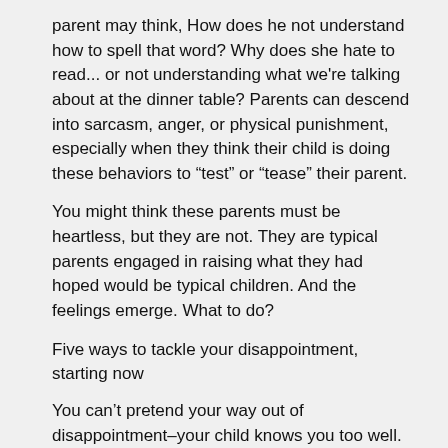parent may think, How does he not understand how to spell that word? Why does she hate to read... or not understanding what we're talking about at the dinner table? Parents can descend into sarcasm, anger, or physical punishment, especially when they think their child is doing these behaviors to “test” or “tease” their parent.
You might think these parents must be heartless, but they are not. They are typical parents engaged in raising what they had hoped would be typical children. And the feelings emerge. What to do?
Five ways to tackle your disappointment, starting now
You can’t pretend your way out of disappointment–your child knows you too well. Even a seriously impaired child will inevitably ask the heartbreaking question, “Mommy, why are you so mad at me?” But there are actions you can take today to come to terms with your feelings and learn how to manage them.
1. Be honest with yourself–and then talk about it.
Examine yourself, and be totally honest. Do I harbor